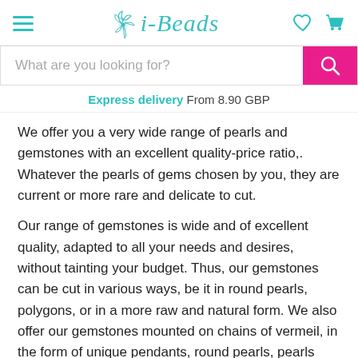i-Beads — navigation header with hamburger menu, logo, heart and cart icons
[Figure (screenshot): Search bar with placeholder text 'What are you looking for?' and a pink search button with magnifying glass icon]
Express delivery From 8.90 GBP
We offer you a very wide range of pearls and gemstones with an excellent quality-price ratio,. Whatever the pearls of gems chosen by you, they are current or more rare and delicate to cut.
Our range of gemstones is wide and of excellent quality, adapted to all your needs and desires, without tainting your budget. Thus, our gemstones can be cut in various ways, be it in round pearls, polygons, or in a more raw and natural form. We also offer our gemstones mounted on chains of vermeil, in the form of unique pendants, round pearls, pearls chips, pebble beads and even carved in cabochons.